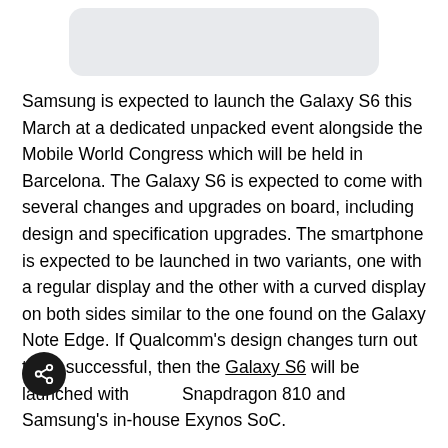[Figure (other): Gray rounded rectangle image placeholder at top of page]
Samsung is expected to launch the Galaxy S6 this March at a dedicated unpacked event alongside the Mobile World Congress which will be held in Barcelona. The Galaxy S6 is expected to come with several changes and upgrades on board, including design and specification upgrades. The smartphone is expected to be launched in two variants, one with a regular display and the other with a curved display on both sides similar to the one found on the Galaxy Note Edge. If Qualcomm's design changes turn out to be successful, then the Galaxy S6 will be launched with Snapdragon 810 and Samsung's in-house Exynos SoC.
Both the Snapdragon 810 and the Exynos are octa-